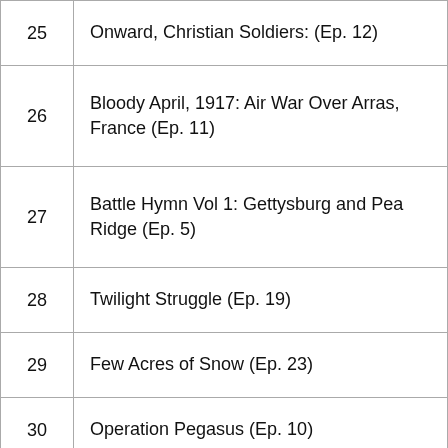| # | Title |
| --- | --- |
| 25 | Onward, Christian Soldiers: (Ep. 12) |
| 26 | Bloody April, 1917: Air War Over Arras, France (Ep. 11) |
| 27 | Battle Hymn Vol 1: Gettysburg and Pea Ridge (Ep. 5) |
| 28 | Twilight Struggle (Ep. 19) |
| 29 | Few Acres of Snow (Ep. 23) |
| 30 | Operation Pegasus (Ep. 10) |
| 31 | Angola (Ep. 8) |
| 32 | Pavlov's House (Ep. 23) |
| 33 | Holdfast: Korea (Ep. 5) |